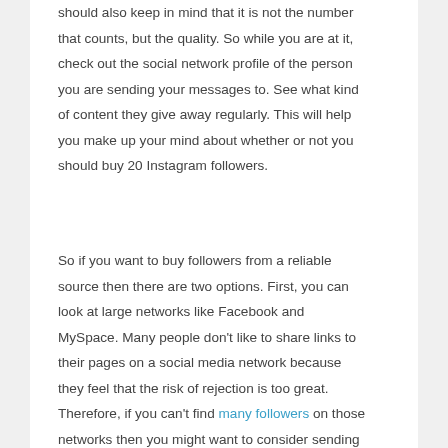should also keep in mind that it is not the number that counts, but the quality. So while you are at it, check out the social network profile of the person you are sending your messages to. See what kind of content they give away regularly. This will help you make up your mind about whether or not you should buy 20 Instagram followers.
So if you want to buy followers from a reliable source then there are two options. First, you can look at large networks like Facebook and MySpace. Many people don't like to share links to their pages on a social media network because they feel that the risk of rejection is too great. Therefore, if you can't find many followers on those networks then you might want to consider sending your